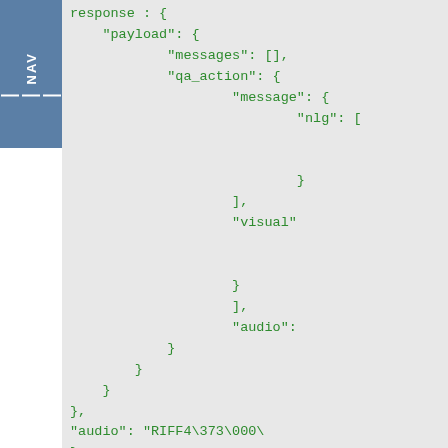[Figure (screenshot): Navigation bar on the left side with hamburger icon and NAV text rotated vertically]
response: {
    "payload": {
            "messages": [],
            "qa_action": {
                    "message": {
                            "nlg": [


                            }
                    ],
                    "visual"


                    }
                    ],
                    "audio":
            }
        }
    }
},
"audio": "RIFF4\373\000\
}

# Additional StreamOutputs w
{
    "audio": "...audio_bytes
}